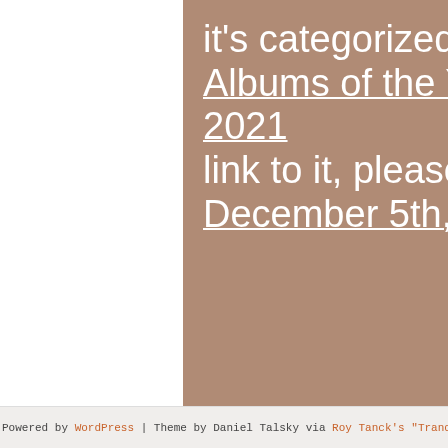it's categorized as Albums of the Year 2021 link to it, please: S… December 5th, 20…
Powered by WordPress | Theme by Daniel Talsky via Roy Tanck's "Tranquility White"